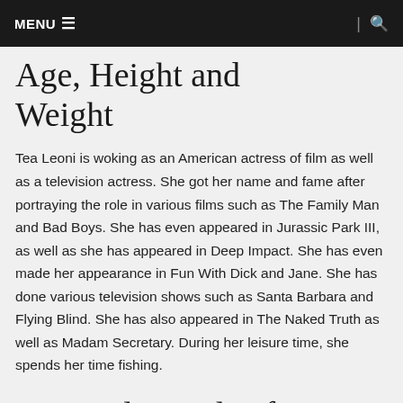MENU ☰  |  🔍
Age, Height and Weight
Tea Leoni is woking as an American actress of film as well as a television actress. She got her name and fame after portraying the role in various films such as The Family Man and Bad Boys. She has even appeared in Jurassic Park III, as well as she has appeared in Deep Impact. She has even made her appearance in Fun With Dick and Jane. She has done various television shows such as Santa Barbara and Flying Blind. She has also appeared in The Naked Truth as well as Madam Secretary. During her leisure time, she spends her time fishing.
Personal Details of